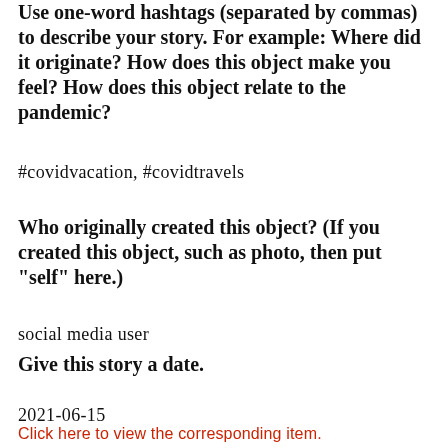Use one-word hashtags (separated by commas) to describe your story. For example: Where did it originate? How does this object make you feel? How does this object relate to the pandemic?
#covidvacation, #covidtravels
Who originally created this object? (If you created this object, such as photo, then put "self" here.)
social media user
Give this story a date.
2021-06-15
Click here to view the corresponding item.